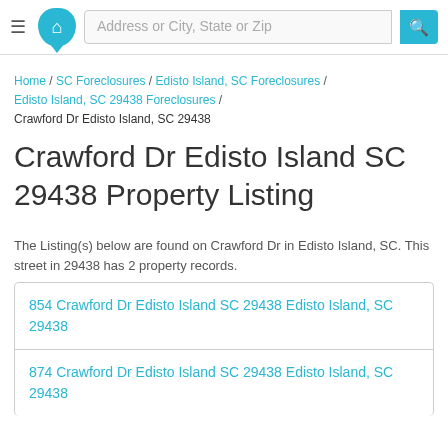[Figure (logo): Site header with hamburger menu, house logo, address search bar, and search button]
Home / SC Foreclosures / Edisto Island, SC Foreclosures / Edisto Island, SC 29438 Foreclosures /
Crawford Dr Edisto Island, SC 29438
Crawford Dr Edisto Island SC 29438 Property Listing
The Listing(s) below are found on Crawford Dr in Edisto Island, SC. This street in 29438 has 2 property records.
854 Crawford Dr Edisto Island SC 29438 Edisto Island, SC 29438
874 Crawford Dr Edisto Island SC 29438 Edisto Island, SC 29438